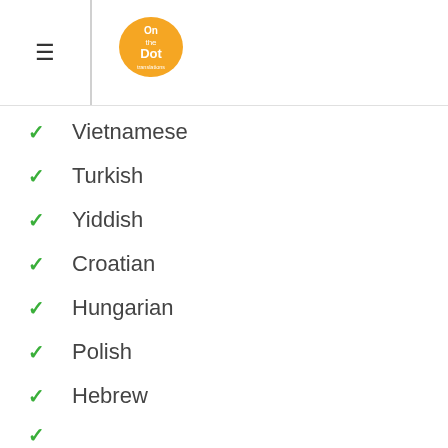On the Dot Translations
Vietnamese
Turkish
Yiddish
Croatian
Hungarian
Polish
Hebrew
Romanian (partial)